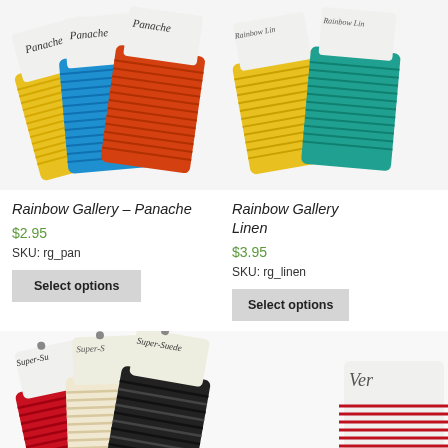[Figure (photo): Three Panache thread cards from Rainbow Gallery in yellow, blue, and orange/red colors fanned out on a white background]
Rainbow Gallery – Panache
$2.95
SKU: rg_pan
Select options
[Figure (photo): Rainbow Gallery Linen thread cards in yellow and teal/green colors on a white background]
Rainbow Gallery Linen
$3.95
SKU: rg_linen
Select options
[Figure (photo): Three Super-Suede thread cards in red, cream/white, and black colors fanned out]
[Figure (photo): Partial view of another thread product (Vera brand) partially visible on the right]